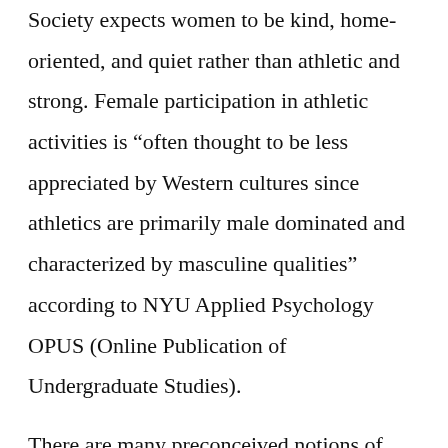Society expects women to be kind, home-oriented, and quiet rather than athletic and strong. Female participation in athletic activities is “often thought to be less appreciated by Western cultures since athletics are primarily male dominated and characterized by masculine qualities” according to NYU Applied Psychology OPUS (Online Publication of Undergraduate Studies).
There are many preconceived notions of gender stereotypes which functions within the power dynamics of heteropatriarchy. Society predetermines